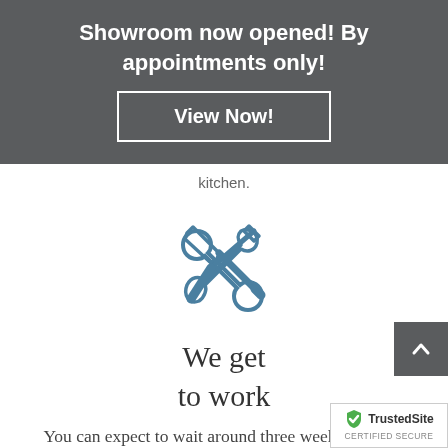Showroom now opened! By appointments only!
View Now!
kitchen.
[Figure (illustration): Crossed screwdriver and wrench tools icon in blue outline style]
We get to work
You can expect to wait around three weeks for your bespoke kitchen to be ready to fit. We will have already booked a date for our expert fitter to transform your kitchen.
[Figure (logo): TrustedSite Certified Secure badge]